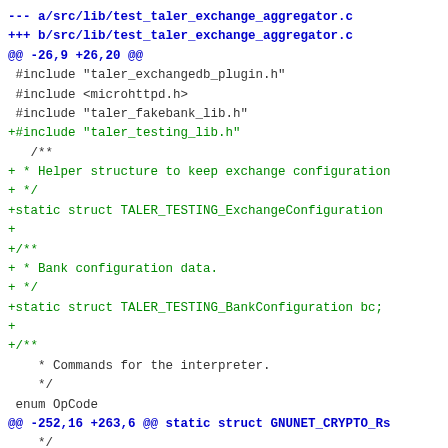--- a/src/lib/test_taler_exchange_aggregator.c
+++ b/src/lib/test_taler_exchange_aggregator.c
@@ -26,9 +26,20 @@
  #include "taler_exchangedb_plugin.h"
  #include <microhttpd.h>
  #include "taler_fakebank_lib.h"
 +#include "taler_testing_lib.h"


   /**
 + * Helper structure to keep exchange configuration
 + */
 +static struct TALER_TESTING_ExchangeConfiguration
 +
 +/**
 + * Bank configuration data.
 + */
 +static struct TALER_TESTING_BankConfiguration bc;
 +
 +/**
    * Commands for the interpreter.
    */
  enum OpCode
@@ -252,16 +263,6 @@ static struct GNUNET_CRYPTO_Rs
    */
  static struct TALER_FAKEBANK_Handle *fb;

 -
 -/**
 - * Interprets the commands from the test program.